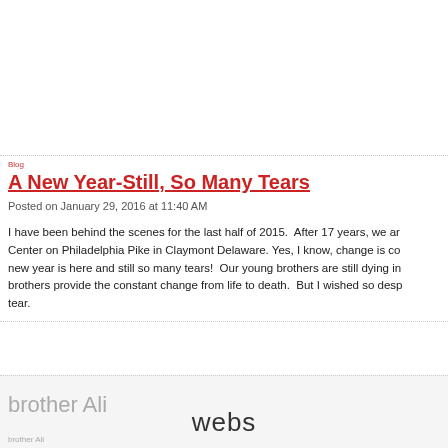A New Year-Still, So Many Tears
Posted on January 29, 2016 at 11:40 AM
I have been behind the scenes for the last half of 2015.  After 17 years, we ar… Center on Philadelphia Pike in Claymont Delaware. Yes, I know, change is co… new year is here and still so many tears!  Our young brothers are still dying in… brothers provide the constant change from life to death.  But I wished so desp… tear.
brother Ali  webs